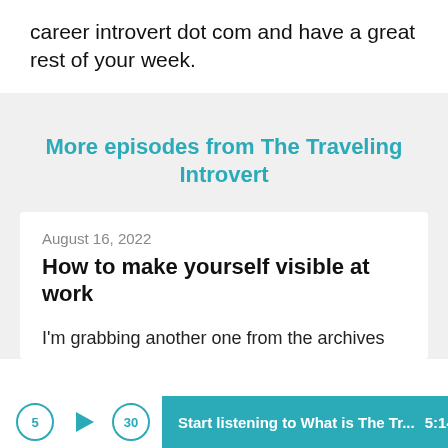career introvert dot com and have a great rest of your week.
More episodes from The Traveling Introvert
August 16, 2022
How to make yourself visible at work
I'm grabbing another one from the archives
Start listening to What is The Tr...  5:14